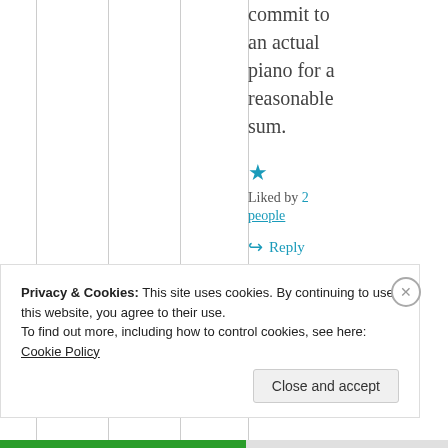commit to an actual piano for a reasonable sum.
★ Liked by 2 people
↪ Reply
Privacy & Cookies: This site uses cookies. By continuing to use this website, you agree to their use. To find out more, including how to control cookies, see here: Cookie Policy
Close and accept